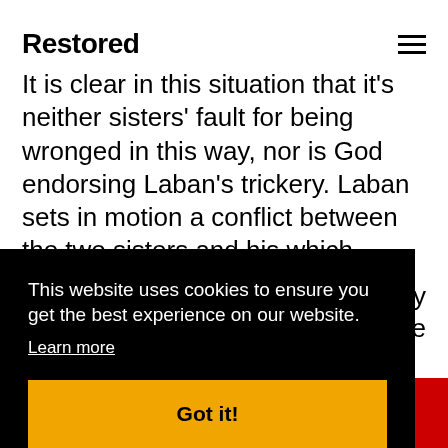Restored
It is clear in this situation that it's neither sisters' fault for being wronged in this way, nor is God endorsing Laban's trickery. Laban sets in motion a conflict between the two sisters and his which...
This website uses cookies to ensure you get the best experience on our website. Learn more Got it!